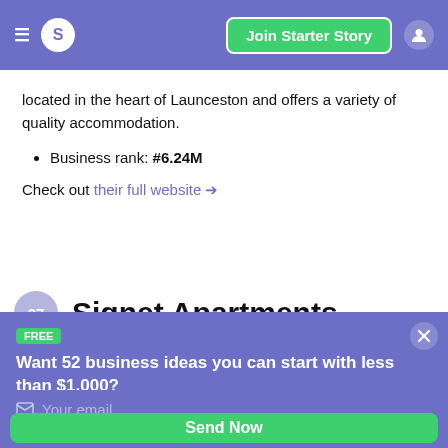S  Join Starter Story
located in the heart of Launceston and offers a variety of quality accommodation.
Business rank: #6.24M
Check out their full website →
Signet Apartments
FREE
Want 52 business ideas you can start with less than $1,000?
Your email
Send Now